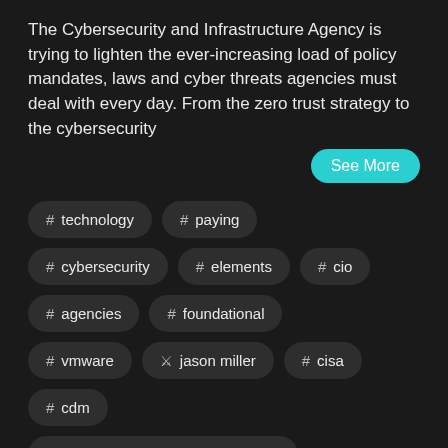The Cybersecurity and Infrastructure Agency is trying to lighten the ever-increasing load of policy mandates, laws and cyber threats agencies must deal with every day. From the zero trust strategy to the cybersecurity
See More
# technology
# paying
# cybersecurity
# elements
# cio
# agencies
# foundational
# vmware
jason miller
# cisa
# cdm
# department of homeland security